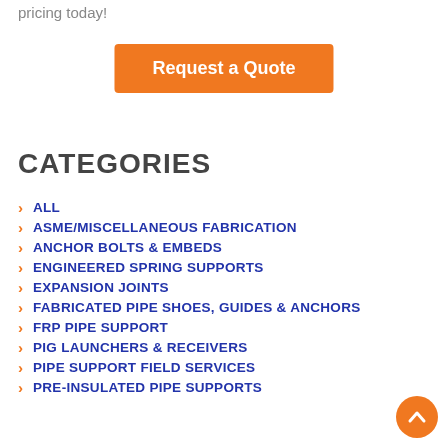pricing today!
[Figure (other): Orange 'Request a Quote' button]
CATEGORIES
ALL
ASME/MISCELLANEOUS FABRICATION
ANCHOR BOLTS & EMBEDS
ENGINEERED SPRING SUPPORTS
EXPANSION JOINTS
FABRICATED PIPE SHOES, GUIDES & ANCHORS
FRP PIPE SUPPORT
PIG LAUNCHERS & RECEIVERS
PIPE SUPPORT FIELD SERVICES
PRE-INSULATED PIPE SUPPORTS